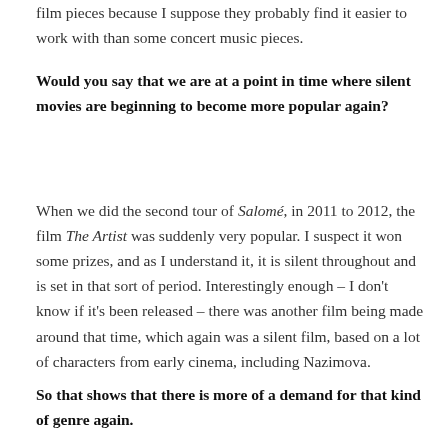film pieces because I suppose they probably find it easier to work with than some concert music pieces.
Would you say that we are at a point in time where silent movies are beginning to become more popular again?
When we did the second tour of Salomé, in 2011 to 2012, the film The Artist was suddenly very popular. I suspect it won some prizes, and as I understand it, it is silent throughout and is set in that sort of period. Interestingly enough – I don't know if it's been released – there was another film being made around that time, which again was a silent film, based on a lot of characters from early cinema, including Nazimova.
So that shows that there is more of a demand for that kind of genre again.